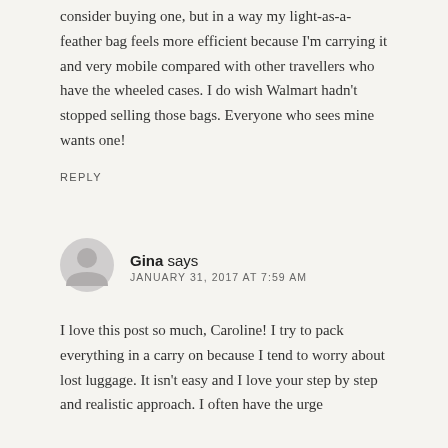consider buying one, but in a way my light-as-a-feather bag feels more efficient because I'm carrying it and very mobile compared with other travellers who have the wheeled cases. I do wish Walmart hadn't stopped selling those bags. Everyone who sees mine wants one!
REPLY
[Figure (illustration): Generic user avatar icon — gray silhouette of a person on a light gray circular background]
Gina says
JANUARY 31, 2017 AT 7:59 AM
I love this post so much, Caroline! I try to pack everything in a carry on because I tend to worry about lost luggage. It isn't easy and I love your step by step and realistic approach. I often have the urge